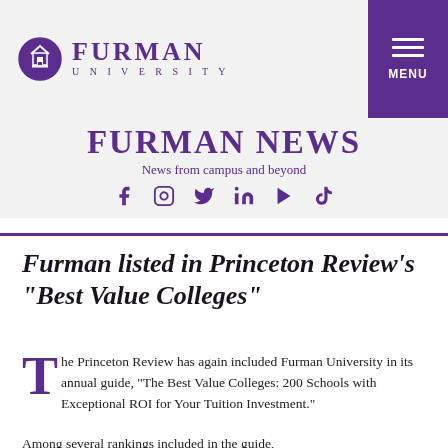FURMAN UNIVERSITY
[Figure (logo): Furman University logo: purple circle with building icon, text FURMAN UNIVERSITY]
FURMAN NEWS
News from campus and beyond
[Figure (infographic): Social media icons: Facebook, Instagram, Twitter, LinkedIn, YouTube, TikTok in purple]
Furman listed in Princeton Review's “Best Value Colleges”
The Princeton Review has again included Furman University in its annual guide, “The Best Value Colleges: 200 Schools with Exceptional ROI for Your Tuition Investment.”
Among several rankings included in the guide,